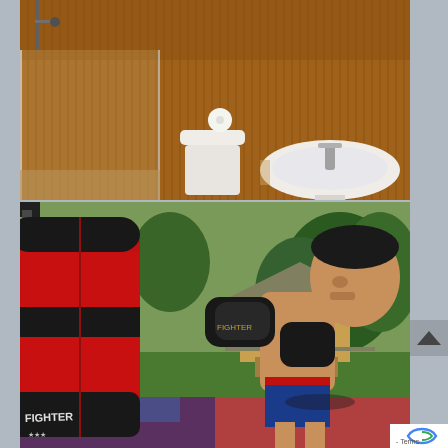[Figure (photo): Interior bathroom photo with wooden bamboo wall panels, glass shower stall, toilet, and white sink/basin on a pedestal. Warm amber/brown tones throughout.]
[Figure (photo): Outdoor boxing/muay thai training scene. Left side shows a large red and black punching bag (Fighter brand). Right side shows a shirtless male boxer wearing black boxing gloves in fighting stance. Background shows a tropical resort with wooden stilt bungalows, green lawn, and trees.]